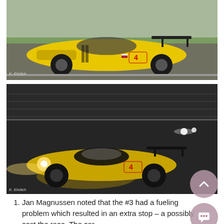[Figure (photo): Yellow Corvette C7.R race car #4 on track during daylight, photographed by K. Ehrlich]
[Figure (photo): Yellow Corvette C7.R race car #4 on track at night with headlights on, photographed by K. Ehrlich]
Jan Magnussen noted that the #3 had a fueling problem which resulted in an extra stop – a possibly cost the race. The car